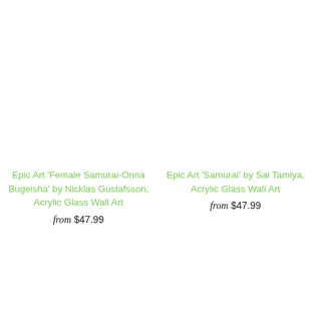Epic Art 'Female Samurai-Onna Bugeisha' by Nicklas Gustafsson, Acrylic Glass Wall Art
from $47.99
Epic Art 'Samurai' by Sai Tamiya, Acrylic Glass Wall Art
from $47.99